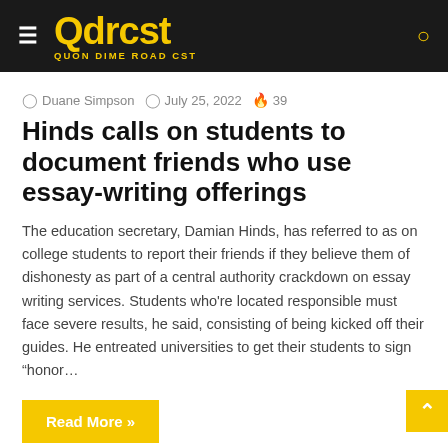Qdrcst — QUON DIME ROAD CST
Duane Simpson  July 25, 2022  39
Hinds calls on students to document friends who use essay-writing offerings
The education secretary, Damian Hinds, has referred to as on college students to report their friends if they believe them of dishonesty as part of a central authority crackdown on essay writing services. Students who're located responsible must face severe results, he said, consisting of being kicked off their guides. He entreated universities to get their students to sign "honor…
Read More »